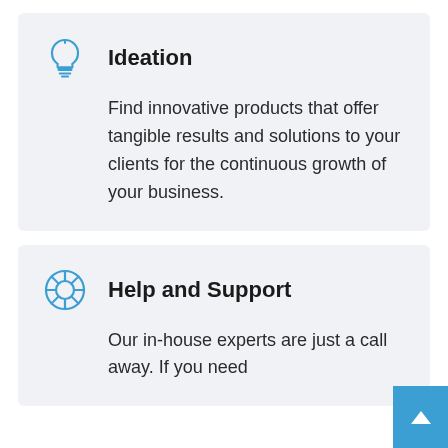[Figure (illustration): Light bulb icon in blue outline style]
Ideation
Find innovative products that offer tangible results and solutions to your clients for the continuous growth of your business.
[Figure (illustration): Help/support life ring icon in blue circle style]
Help and Support
Our in-house experts are just a call away. If you need